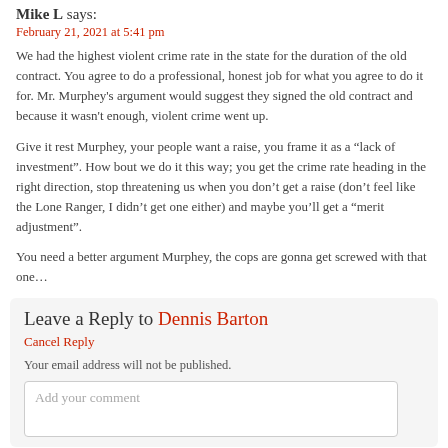Mike L says:
February 21, 2021 at 5:41 pm
We had the highest violent crime rate in the state for the duration of the old contract. You agree to do a professional, honest job for what you agree to do it for. Mr. Murphey's argument would suggest they signed the old contract and because it wasn't enough, violent crime went up.
Give it rest Murphey, your people want a raise, you frame it as a “lack of investment”. How bout we do it this way; you get the crime rate heading in the right direction, stop threatening us when you don’t get a raise (don’t feel like the Lone Ranger, I didn’t get one either) and maybe you’ll get a “merit adjustment”.
You need a better argument Murphey, the cops are gonna get screwed with that one…
Leave a Reply to Dennis Barton
Cancel Reply
Your email address will not be published.
Add your comment